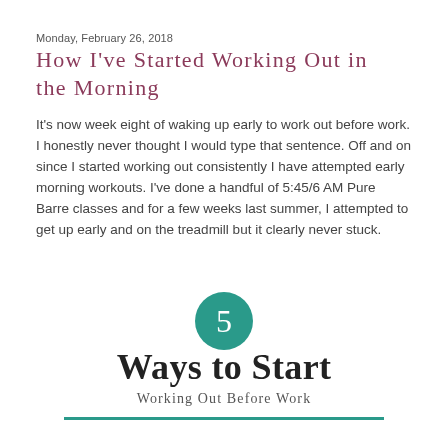Monday, February 26, 2018
How I've Started Working Out in the Morning
It's now week eight of waking up early to work out before work. I honestly never thought I would type that sentence. Off and on since I started working out consistently I have attempted early morning workouts. I've done a handful of 5:45/6 AM Pure Barre classes and for a few weeks last summer, I attempted to get up early and on the treadmill but it clearly never stuck.
[Figure (infographic): Teal circle with the number 5 above large text reading 'Ways to Start' with subtitle 'Working Out Before Work' and a teal horizontal rule below]